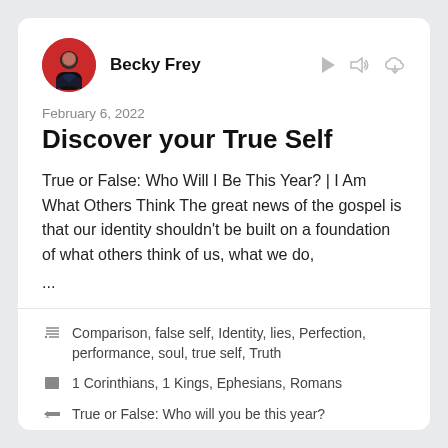Becky Frey
February 6, 2022
Discover your True Self
True or False: Who Will I Be This Year? | I Am What Others Think The great news of the gospel is that our identity shouldn't be built on a foundation of what others think of us, what we do, ...
Comparison, false self, Identity, lies, Perfection, performance, soul, true self, Truth
1 Corinthians, 1 Kings, Ephesians, Romans
True or False: Who will you be this year?